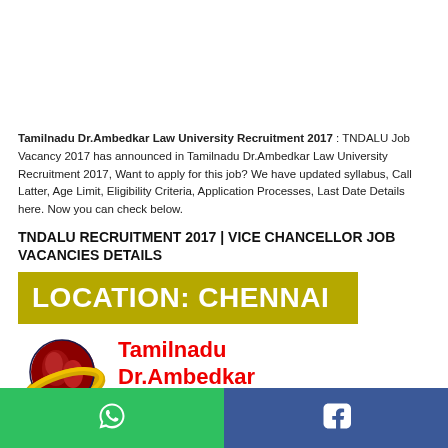Tamilnadu Dr.Ambedkar Law University Recruitment 2017 : TNDALU Job Vacancy 2017 has announced in Tamilnadu Dr.Ambedkar Law University Recruitment 2017, Want to apply for this job? We have updated syllabus, Call Latter, Age Limit, Eligibility Criteria, Application Processes, Last Date Details here. Now you can check below.
TNDALU RECRUITMENT 2017 | VICE CHANCELLOR JOB VACANCIES DETAILS
[Figure (infographic): Olive/gold banner with white bold text reading LOCATION: CHENNAI]
[Figure (logo): Tamilnadu Dr.Ambedkar Law University logo — globe with yellow ring and text LEX SUPREMUS — alongside red bold text: Tamilnadu Dr.Ambedkar Law University]
[Figure (infographic): Footer bar split into two halves: left green with WhatsApp icon, right blue with Facebook icon]